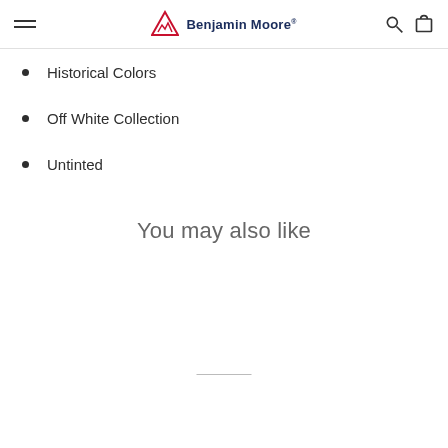Benjamin Moore
Historical Colors
Off White Collection
Untinted
You may also like